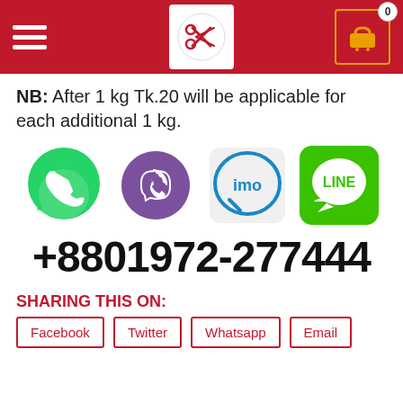Navigation header with hamburger menu, logo, and cart icon showing 0
NB: After 1 kg Tk.20 will be applicable for each additional 1 kg.
[Figure (illustration): Four messaging app icons: WhatsApp (green), Viber (purple), imo (blue/white), LINE (green)]
+8801972-277444
SHARING THIS ON:
Facebook
Twitter
Whatsapp
Email